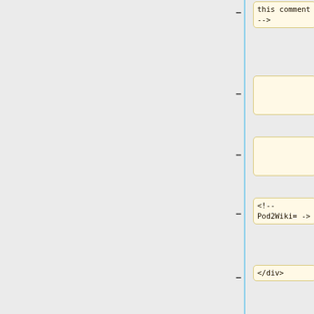[Figure (screenshot): Code diff view showing a series of code blocks with annotations. Each block contains XML/Perl code snippets with yellow highlighted backgrounds. A vertical blue line runs down the left side of the code blocks. Each block has a dash marker on its left. Content includes HTML comments, div tags, and Pod2Wiki markers.]
this comment -->
<!-- Pod2Wiki= ->
</div>
<!-- Pod2Wiki= ->
</div>
<!-- Pod2Wiki=item_repository -->
===$repo = $ep-&gt;repository(